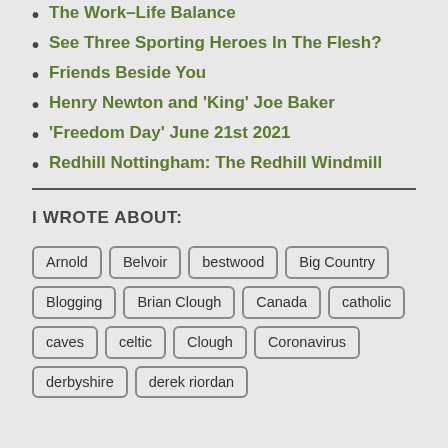The Work-Life Balance
See Three Sporting Heroes In The Flesh?
Friends Beside You
Henry Newton and 'King' Joe Baker
'Freedom Day' June 21st 2021
Redhill Nottingham: The Redhill Windmill
I WROTE ABOUT:
Arnold Belvoir bestwood Big Country Blogging Brian Clough Canada catholic caves celtic Clough Coronavirus derbyshire derek riordan